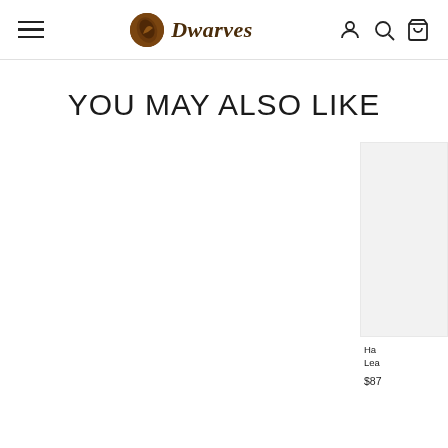Dwarves — navigation header with hamburger menu, logo, account, search, and cart icons
YOU MAY ALSO LIKE
[Figure (photo): Partially visible product card on the right edge showing a product image placeholder and partial product name 'Ha... Lea...' with price '$87...']